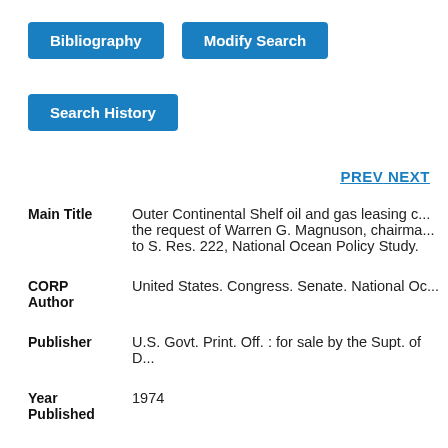[Figure (screenshot): Blue button labeled 'Bibliography']
[Figure (screenshot): Blue button labeled 'Modify Search']
[Figure (screenshot): Blue button labeled 'Search History']
PREV NEXT
| Field | Value |
| --- | --- |
| Main Title | Outer Continental Shelf oil and gas leasing c... the request of Warren G. Magnuson, chairma... to S. Res. 222, National Ocean Policy Study. |
| CORP Author | United States. Congress. Senate. National Oc... |
| Publisher | U.S. Govt. Print. Off. : for sale by the Supt. of D... |
| Year Published | 1974 |